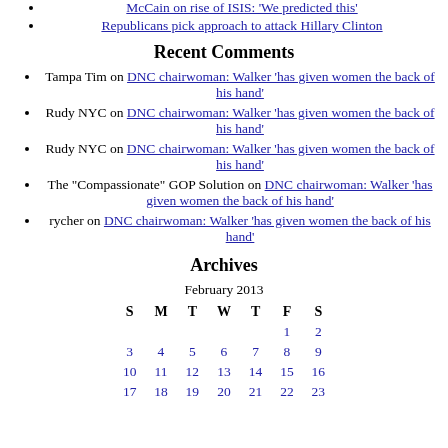McCain on rise of ISIS: 'We predicted this'
Republicans pick approach to attack Hillary Clinton
Recent Comments
Tampa Tim on DNC chairwoman: Walker 'has given women the back of his hand'
Rudy NYC on DNC chairwoman: Walker 'has given women the back of his hand'
Rudy NYC on DNC chairwoman: Walker 'has given women the back of his hand'
The "Compassionate" GOP Solution on DNC chairwoman: Walker 'has given women the back of his hand'
rycher on DNC chairwoman: Walker 'has given women the back of his hand'
Archives
| S | M | T | W | T | F | S |
| --- | --- | --- | --- | --- | --- | --- |
|  |  |  |  |  | 1 | 2 |
| 3 | 4 | 5 | 6 | 7 | 8 | 9 |
| 10 | 11 | 12 | 13 | 14 | 15 | 16 |
| 17 | 18 | 19 | 20 | 21 | 22 | 23 |